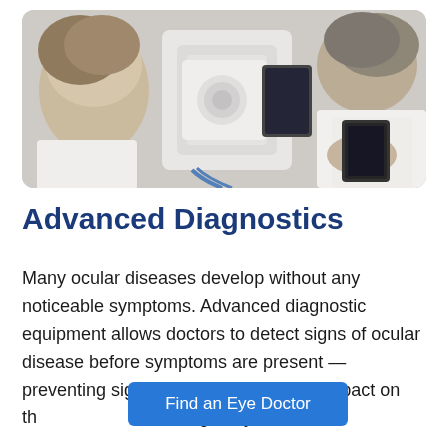[Figure (photo): Overhead view of an eye doctor using advanced diagnostic ophthalmic equipment with a patient. The patient is positioned with their face against the device while the doctor in a white coat handles the equipment.]
Advanced Diagnostics
Many ocular diseases develop without any noticeable symptoms. Advanced diagnostic equipment allows doctors to detect signs of ocular disease before symptoms are present —preventing significant and permanent impact on th[e vision by catching early treatment at the doctor to prevent the disease]...